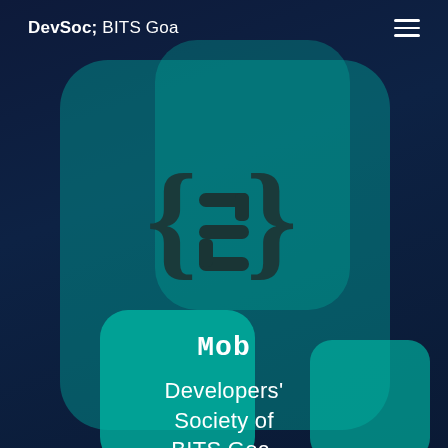DevSoc; BITS Goa
[Figure (logo): DevSoc logo: curly braces with a stylized 'S' inside, rendered in dark teal/charcoal on a teal background]
Mob
Developers' Society of BITS Goa.